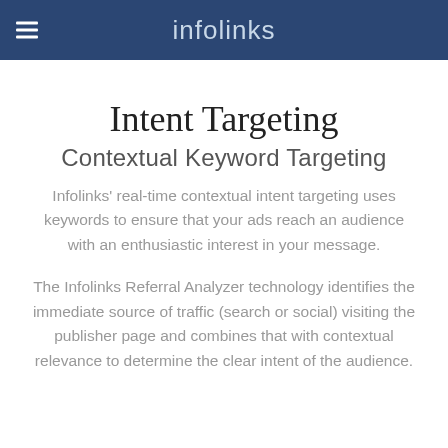infolinks
Intent Targeting
Contextual Keyword Targeting
Infolinks' real-time contextual intent targeting uses keywords to ensure that your ads reach an audience with an enthusiastic interest in your message.
The Infolinks Referral Analyzer technology identifies the immediate source of traffic (search or social) visiting the publisher page and combines that with contextual relevance to determine the clear intent of the audience.